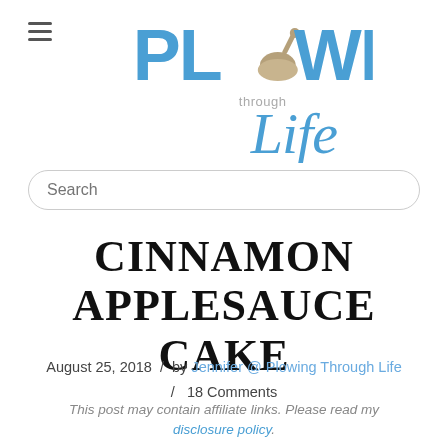[Figure (logo): Plowing Through Life blog logo with mortar and pestle icon and stylized script text]
Search
CINNAMON APPLESAUCE CAKE
August 25, 2018 / by Jennifer @ Plowing Through Life / 18 Comments
This post may contain affiliate links. Please read my disclosure policy.